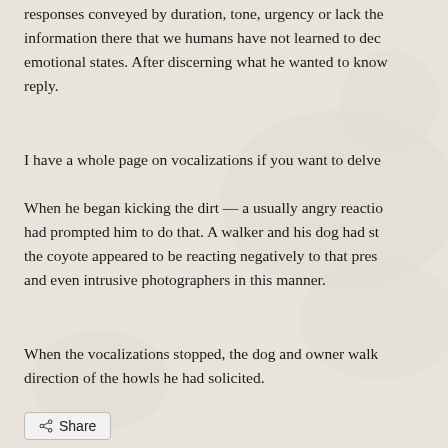responses conveyed by duration, tone, urgency or lack the information there that we humans have not learned to dec emotional states. After discerning what he wanted to know reply.
I have a whole page on vocalizations if you want to delve
When he began kicking the dirt — a usually angry reactio had prompted him to do that. A walker and his dog had st the coyote appeared to be reacting negatively to that pres and even intrusive photographers in this manner.
When the vocalizations stopped, the dog and owner walk direction of the howls he had solicited.
Share
Loading...